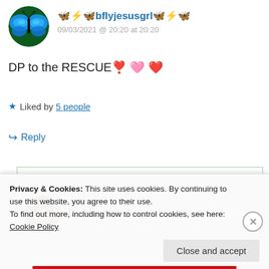🦋⚡🦋bflyjesusgrl🦋⚡🦋
09/03/2021 @ 20:20 at 20:20
DP to the RESCUE 💕 🩷 ❤️
★ Liked by 5 people
↪ Reply
Deplorable Patriot
Privacy & Cookies: This site uses cookies. By continuing to use this website, you agree to their use.
To find out more, including how to control cookies, see here: Cookie Policy
Close and accept